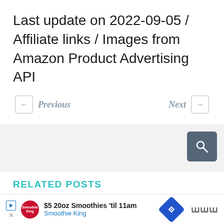Last update on 2022-09-05 / Affiliate links / Images from Amazon Product Advertising API
← Previous   Next →
[Figure (screenshot): Search bar section with gray background and a dark teal search button icon]
RELATED POSTS
[Figure (photo): Photo of a laptop on a desk, related post thumbnail]
How to Choose The Best Car Amplifier for Your Car
$5 20oz Smoothies 'til 11am Smoothie King